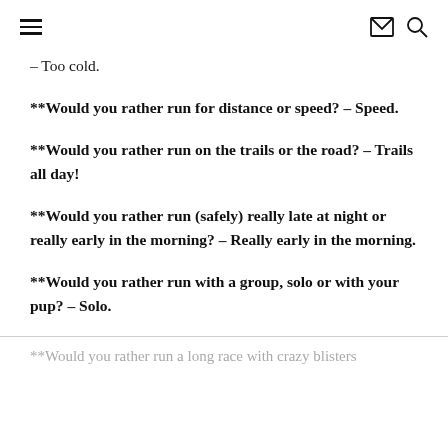≡  ✉ 🔍
– Too cold.
**Would you rather run for distance or speed? – Speed.
**Would you rather run on the trails or the road? – Trails all day!
**Would you rather run (safely) really late at night or really early in the morning? – Really early in the morning.
**Would you rather run with a group, solo or with your pup? – Solo.
**Would you rather run a long race with crazy blisters